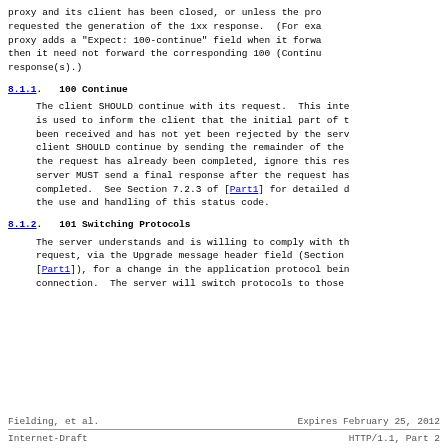proxy and its client has been closed, or unless the pro requested the generation of the 1xx response.  (For exa proxy adds a "Expect: 100-continue" field when it forwa then it need not forward the corresponding 100 (Continu response(s).)
8.1.1.  100 Continue
The client SHOULD continue with its request.  This inte is used to inform the client that the initial part of t been received and has not yet been rejected by the serv client SHOULD continue by sending the remainder of the the request has already been completed, ignore this res server MUST send a final response after the request has completed.  See Section 7.2.3 of [Part1] for detailed d the use and handling of this status code.
8.1.2.  101 Switching Protocols
The server understands and is willing to comply with th request, via the Upgrade message header field (Section [Part1]), for a change in the application protocol bein connection.  The server will switch protocols to those
Fielding, et al.          Expires February 25, 2012
Internet-Draft            HTTP/1.1, Part 2